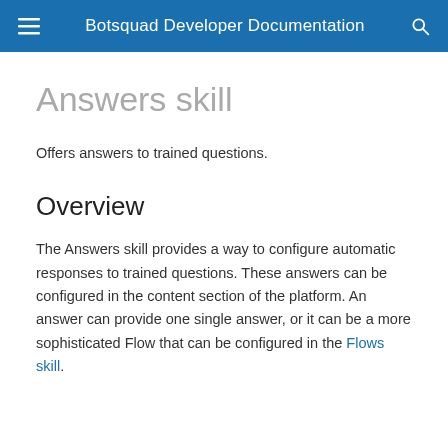Botsquad Developer Documentation
Answers skill
Offers answers to trained questions.
Overview
The Answers skill provides a way to configure automatic responses to trained questions. These answers can be configured in the content section of the platform. An answer can provide one single answer, or it can be a more sophisticated Flow that can be configured in the Flows skill.